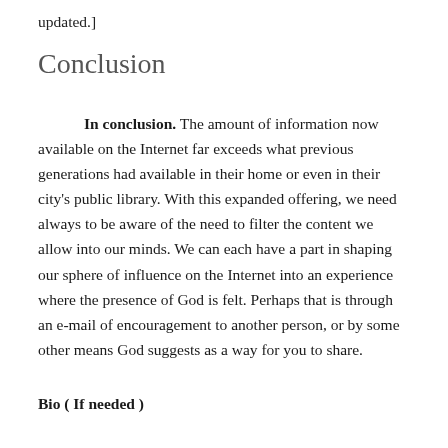updated.]
Conclusion
In conclusion. The amount of information now available on the Internet far exceeds what previous generations had available in their home or even in their city's public library. With this expanded offering, we need always to be aware of the need to filter the content we allow into our minds. We can each have a part in shaping our sphere of influence on the Internet into an experience where the presence of God is felt. Perhaps that is through an e-mail of encouragement to another person, or by some other means God suggests as a way for you to share.
Bio ( If needed )